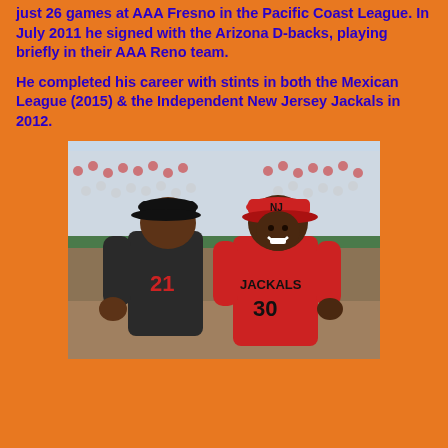just 26 games at AAA Fresno in the Pacific Coast League. In July 2011 he signed with the Arizona D-backs, playing briefly in their AAA Reno team.
He completed his career with stints in both the Mexican League (2015) & the Independent New Jersey Jackals in 2012.
[Figure (photo): Two men in baseball uniforms at a stadium. The man on the right wears a red New Jersey Jackals jersey with number 30 and a red cap, smiling broadly. The man on the left wears a dark uniform with number 21 and a black cap, facing away. Fans are visible in the background stands.]